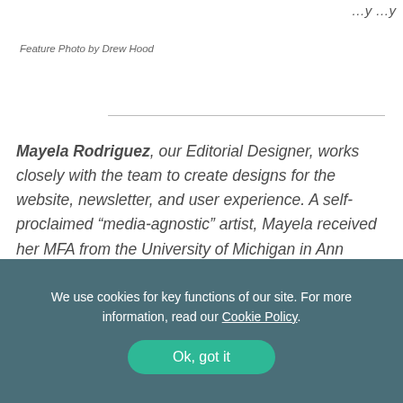…y …y
Feature Photo by Drew Hood
Mayela Rodriguez, our Editorial Designer, works closely with the team to create designs for the website, newsletter, and user experience. A self-proclaimed “media-agnostic” artist, Mayela received her MFA from the University of Michigan in Ann
We use cookies for key functions of our site. For more information, read our Cookie Policy.
Ok, got it